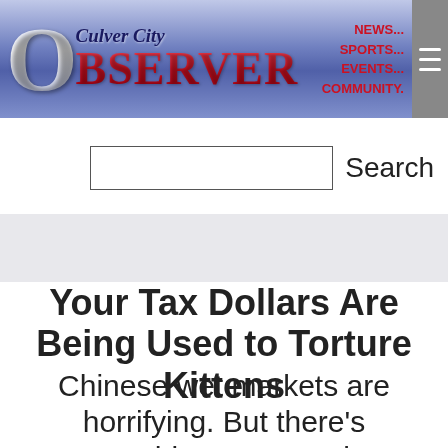[Figure (logo): Culver City Observer newspaper logo banner with navigation links: NEWS..., SPORTS..., EVENTS..., COMMUNITY.]
Search
Your Tax Dollars Are Being Used to Torture Kittens
Chinese wet markets are horrifying. But there's something you can do.